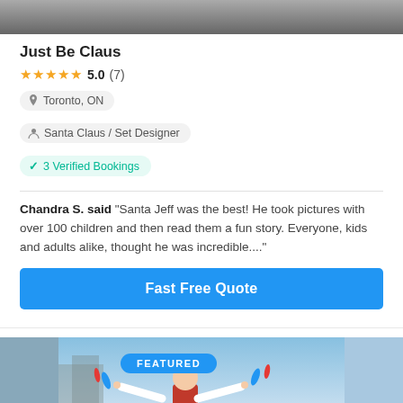[Figure (photo): Cropped top of a vendor profile photo, dark background]
Just Be Claus
★★★★★ 5.0 (7)
Toronto, ON
Santa Claus / Set Designer
✓ 3 Verified Bookings
Chandra S. said "Santa Jeff was the best! He took pictures with over 100 children and then read them a fun story. Everyone, kids and adults alike, thought he was incredible...."
Fast Free Quote
[Figure (photo): Featured listing photo of a juggler in a red vest and white hat with arms spread wide holding juggling pins, outdoor daytime setting. A 'FEATURED' badge is overlaid on the photo.]